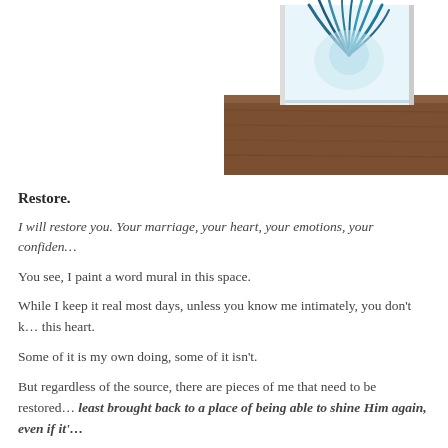[Figure (photo): A watercolor painting with blue-green feather-like design, propped up on a wooden floor surface, photographed from the side.]
Restore.
I will restore you. Your marriage, your heart, your emotions, your confiden…
You see, I paint a word mural in this space.
While I keep it real most days, unless you know me intimately, you don't k… this heart.
Some of it is my own doing, some of it isn't.
But regardless of the source, there are pieces of me that need to be restored least brought back to a place of being able to shine Him again, even if it'…
Our marriage…it's hard. We are night and day, sunshine and rain…and loo… there, and I remind myself of that daily as, sometimes, we try desperately t…